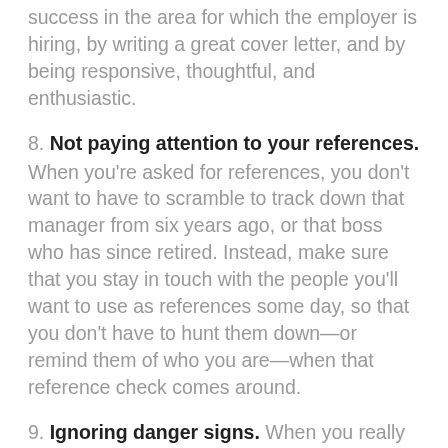success in the area for which the employer is hiring, by writing a great cover letter, and by being responsive, thoughtful, and enthusiastic.
8. Not paying attention to your references. When you're asked for references, you don't want to have to scramble to track down that manager from six years ago, or that boss who has since retired. Instead, make sure that you stay in touch with the people you'll want to use as references some day, so that you don't have to hunt them down—or remind them of who you are—when that reference check comes around.
9. Ignoring danger signs. When you really want a job, it's all too easy to ignore signals that a